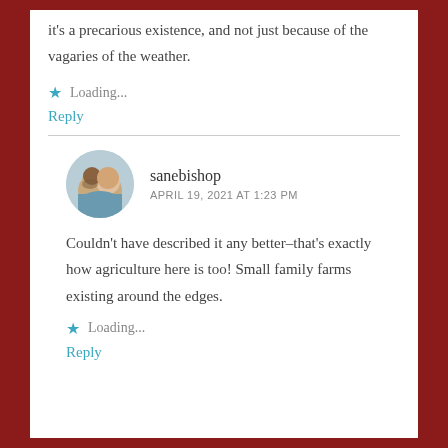it's a precarious existence, and not just because of the vagaries of the weather.
Loading...
Reply
[Figure (photo): Circular avatar photo of two people smiling, a man with a beard and a woman]
sanebishop
APRIL 19, 2021 AT 1:23 PM
Couldn't have described it any better–that's exactly how agriculture here is too! Small family farms existing around the edges.
Loading...
Reply